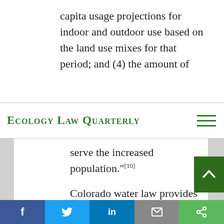capita usage projections for indoor and outdoor use based on the land use mixes for that period; and (4) the amount of
Ecology Law Quarterly
serve the increased population."[10]
Colorado water law provides for broad standing so that members of the public can require water court applicants to meet their burden of proof. The opposer in the Pagosa case, Trout Unlimited, sought to
f  t  in  (email)  (share)